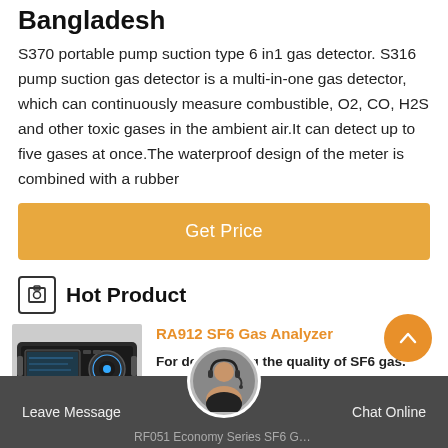Bangladesh
S370 portable pump suction type 6 in1 gas detector. S316 pump suction gas detector is a multi-in-one gas detector, which can continuously measure combustible, O2, CO, H2S and other toxic gases in the ambient air.It can detect up to five gases at once.The waterproof design of the meter is combined with a rubber
Get Price
Hot Product
[Figure (photo): RA912 SF6 Gas Analyzer device, a black rectangular electronic instrument with a circular control element on the front panel.]
RA912 SF6 Gas Analyzer
For determining the quality of SF6 gas.
Leave Message   RF051 Economy Series SF6 Gas Ha...   Chat Online